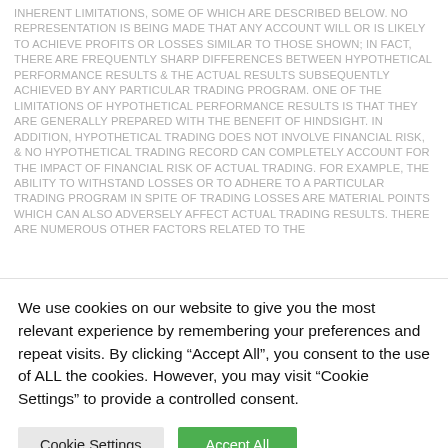INHERENT LIMITATIONS, SOME OF WHICH ARE DESCRIBED BELOW. NO REPRESENTATION IS BEING MADE THAT ANY ACCOUNT WILL OR IS LIKELY TO ACHIEVE PROFITS OR LOSSES SIMILAR TO THOSE SHOWN; IN FACT, THERE ARE FREQUENTLY SHARP DIFFERENCES BETWEEN HYPOTHETICAL PERFORMANCE RESULTS & THE ACTUAL RESULTS SUBSEQUENTLY ACHIEVED BY ANY PARTICULAR TRADING PROGRAM. ONE OF THE LIMITATIONS OF HYPOTHETICAL PERFORMANCE RESULTS IS THAT THEY ARE GENERALLY PREPARED WITH THE BENEFIT OF HINDSIGHT. IN ADDITION, HYPOTHETICAL TRADING DOES NOT INVOLVE FINANCIAL RISK, & NO HYPOTHETICAL TRADING RECORD CAN COMPLETELY ACCOUNT FOR THE IMPACT OF FINANCIAL RISK OF ACTUAL TRADING. FOR EXAMPLE, THE ABILITY TO WITHSTAND LOSSES OR TO ADHERE TO A PARTICULAR TRADING PROGRAM IN SPITE OF TRADING LOSSES ARE MATERIAL POINTS WHICH CAN ALSO ADVERSELY AFFECT ACTUAL TRADING RESULTS. THERE ARE NUMEROUS OTHER FACTORS RELATED TO THE
We use cookies on our website to give you the most relevant experience by remembering your preferences and repeat visits. By clicking "Accept All", you consent to the use of ALL the cookies. However, you may visit "Cookie Settings" to provide a controlled consent.
Cookie Settings
Accept All